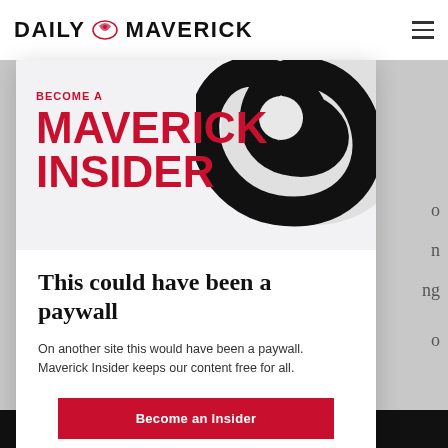DAILY MAVERICK
[Figure (logo): Daily Maverick logo with eagle emblem and site name in bold black uppercase letters, with hamburger menu icon on right]
[Figure (illustration): Modal popup card with red Maverick Insider branding at top with large swirl/spiral graphic, containing paywall message and become an insider button]
This could have been a paywall
On another site this would have been a paywall. Maverick Insider keeps our content free for all.
Become an Insider